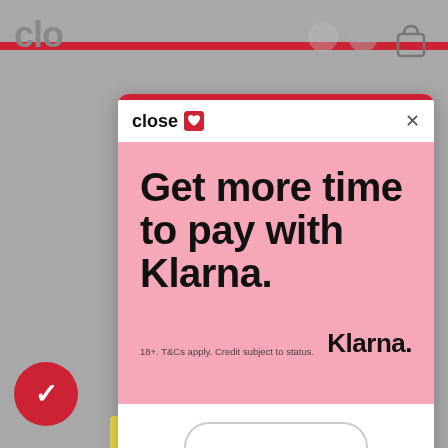[Figure (screenshot): Background of a website partially visible behind a modal dialog. Shows grey background, red navigation bar, 'clo' text on the left, icons on the right, a red circular button with checkmark bottom-left, and a Feefo reviews bar at bottom.]
close
×
Get more time to pay with Klarna.
18+. T&Cs apply. Credit subject to status.
Klarna.